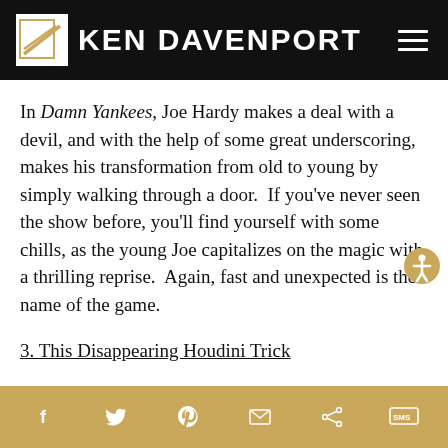[Figure (logo): Ken Davenport website header with black background, white logo box with gold italicized K mark, white bold text 'KEN DAVENPORT', and hamburger menu icon on the right]
In Damn Yankees, Joe Hardy makes a deal with a devil, and with the help of some great underscoring, makes his transformation from old to young by simply walking through a door.  If you've never seen the show before, you'll find yourself with some chills, as the young Joe capitalizes on the magic with a thrilling reprise.  Again, fast and unexpected is the name of the game.
3. This Disappearing Houdini Trick
f  Twitter  Pinterest  Email  Share  SMS